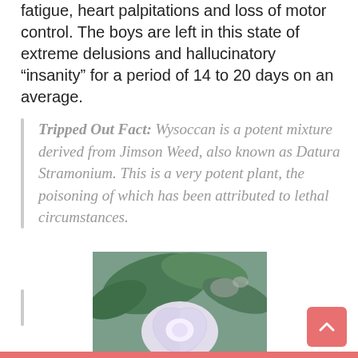fatigue, heart palpitations and loss of motor control. The boys are left in this state of extreme delusions and hallucinatory “insanity” for a period of 14 to 20 days on an average.
Tripped Out Fact: Wysoccan is a potent mixture derived from Jimson Weed, also known as Datura Stramonium. This is a very potent plant, the poisoning of which has been attributed to lethal circumstances.
[Figure (photo): Close-up photograph of a white/pale purple Datura (Jimson Weed) flower with green leaves in the background]